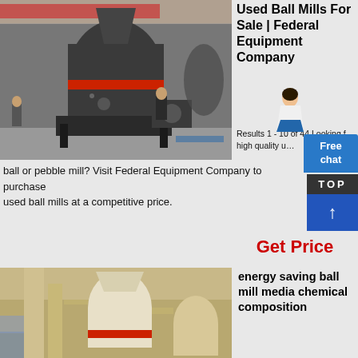[Figure (photo): Industrial ball mill machinery inside a large factory/warehouse, showing large dark grey grinding machines]
Used Ball Mills For Sale | Federal Equipment Company
Results 1 - 10 of 44 Looking for high quality used ball or pebble mill? Visit Federal Equipment Company to purchase used ball mills at a competitive price.
[Figure (photo): Energy saving ball mill equipment in a facility, showing white and tan industrial milling machines]
energy saving ball mill media chemical composition